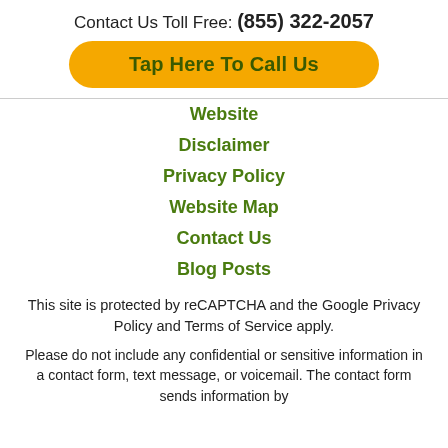Contact Us Toll Free: (855) 322-2057
[Figure (other): Yellow pill-shaped button with text 'Tap Here To Call Us']
Website
Disclaimer
Privacy Policy
Website Map
Contact Us
Blog Posts
This site is protected by reCAPTCHA and the Google Privacy Policy and Terms of Service apply.
Please do not include any confidential or sensitive information in a contact form, text message, or voicemail. The contact form sends information by